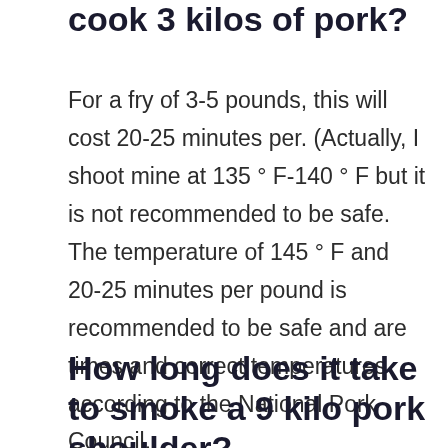cook 3 kilos of pork?
For a fry of 3-5 pounds, this will cost 20-25 minutes per. (Actually, I shoot mine at 135 ° F-140 ° F but it is not recommended to be safe. The temperature of 145 ° F and 20-25 minutes per pound is recommended to be safe and are times and correct temperatures according to the National Pork Council.
How long does it take to smoke a 9 kilo pork shoulder?